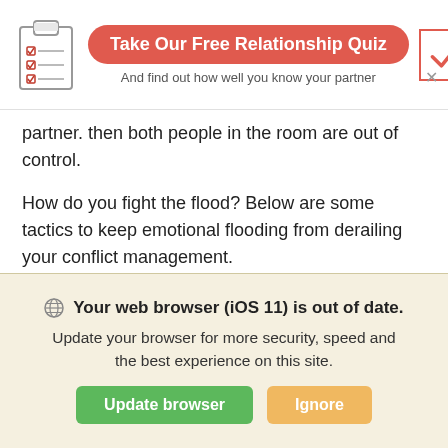[Figure (illustration): Clipboard icon with checklist items]
Take Our Free Relationship Quiz
And find out how well you know your partner
partner. then both people in the room are out of control.
How do you fight the flood? Below are some tactics to keep emotional flooding from derailing your conflict management.
Commit to self-soothe
The reality is that it is not easy to hold back from acting out when we are completely enraged or feeling utterly devastated. However, if you accept the idea
Your web browser (iOS 11) is out of date. Update your browser for more security, speed and the best experience on this site.